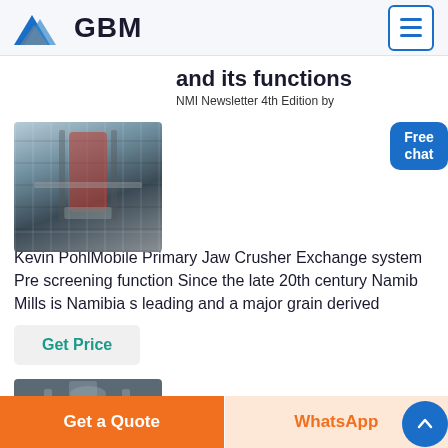GBM
[Figure (photo): Industrial machinery - mobile jaw crusher in a factory setting]
and its functions
NMI Newsletter 4th Edition by Kevin PohlMobile Primary Jaw Crusher Exchange system Pre screening function Since the late 20th century Namib Mills is Namibia s leading and a major grain derived
Get Price
[Figure (photo): Industrial equipment - large mill or crusher machinery]
JOHN Otherstock
Get a Quote
WhatsApp